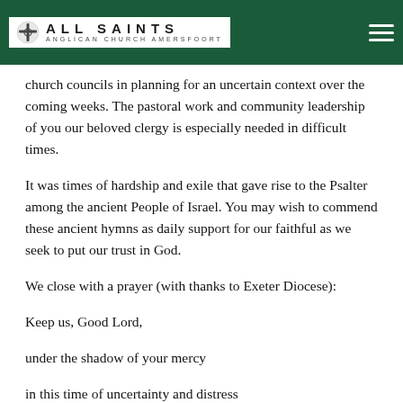ALL SAINTS ANGLICAN CHURCH AMERSFOORT
church councils in planning for an uncertain context over the coming weeks. The pastoral work and community leadership of you our beloved clergy is especially needed in difficult times.
It was times of hardship and exile that gave rise to the Psalter among the ancient People of Israel. You may wish to commend these ancient hymns as daily support for our faithful as we seek to put our trust in God.
We close with a prayer (with thanks to Exeter Diocese):
Keep us, Good Lord,
under the shadow of your mercy
in this time of uncertainty and distress